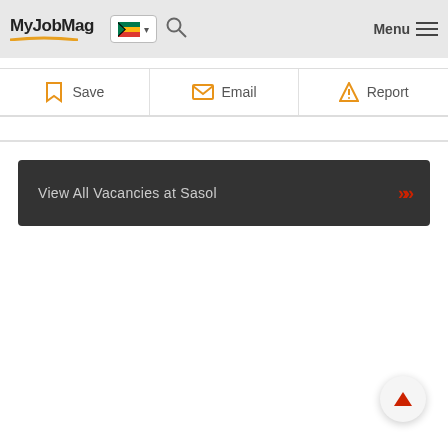MyJobMag
[Figure (screenshot): Action buttons row with Save, Email, and Report options with orange icons]
[Figure (infographic): Dark banner button: View All Vacancies at Sasol with red double chevron arrow]